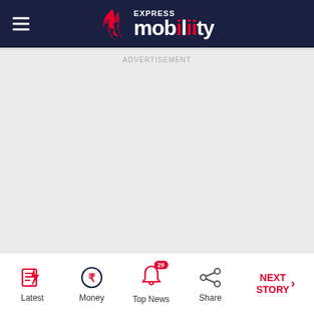Express Mobility
ADVERTISEMENT
Latest | Money | Top News 29 | Share | NEXT STORY